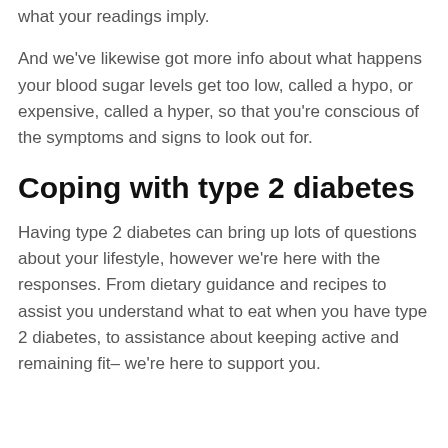what your readings imply.
And we've likewise got more info about what happens your blood sugar levels get too low, called a hypo, or expensive, called a hyper, so that you're conscious of the symptoms and signs to look out for.
Coping with type 2 diabetes
Having type 2 diabetes can bring up lots of questions about your lifestyle, however we're here with the responses. From dietary guidance and recipes to assist you understand what to eat when you have type 2 diabetes, to assistance about keeping active and remaining fit– we're here to support you.